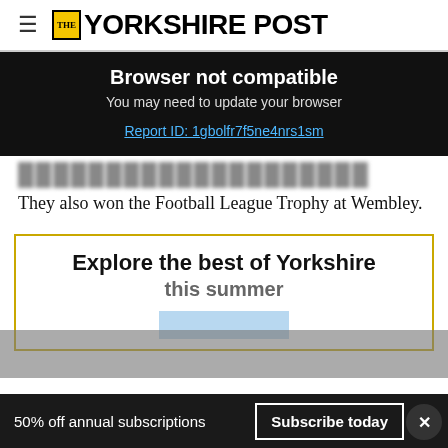THE YORKSHIRE POST
Browser not compatible
You may need to update your browser
Report ID: 1gbolfr7f5ne4nrs1sm
They also won the Football League Trophy at Wembley.
Explore the best of Yorkshire this summer
50% off annual subscriptions   Subscribe today